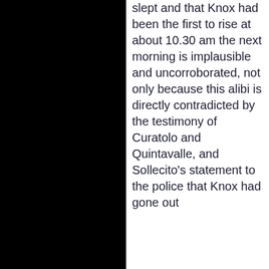slept and that Knox had been the first to rise at about 10.30 am the next morning is implausible and uncorroborated, not only because this alibi is directly contradicted by the testimony of Curatolo and Quintavalle, and Sollecito's statement to the police that Knox had gone out